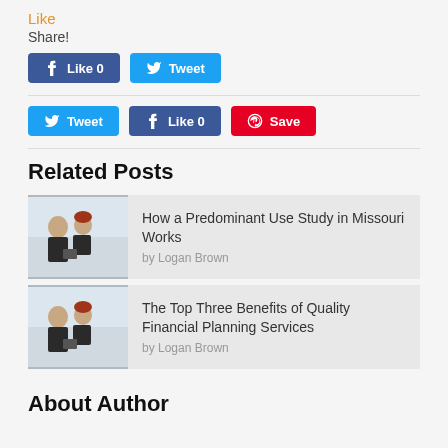Like
Share!
[Figure (other): Facebook Like 0 button and Twitter Tweet button]
[Figure (other): Twitter Tweet button, Facebook Like 0 button, Pinterest Save button]
Related Posts
[Figure (photo): Business people in meeting]
How a Predominant Use Study in Missouri Works
by Logan Brown
[Figure (photo): Business people in meeting]
The Top Three Benefits of Quality Financial Planning Services
by Logan Brown
About Author